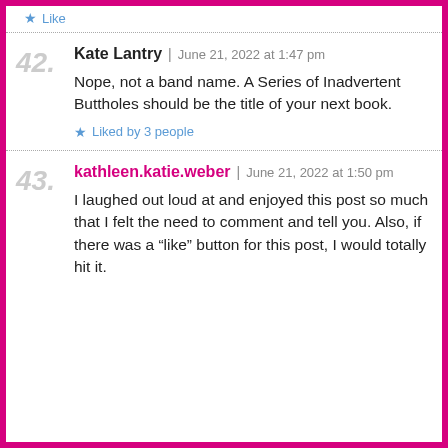Like
42. Kate Lantry | June 21, 2022 at 1:47 pm
Nope, not a band name. A Series of Inadvertent Buttholes should be the title of your next book.
Liked by 3 people
43. kathleen.katie.weber | June 21, 2022 at 1:50 pm
I laughed out loud at and enjoyed this post so much that I felt the need to comment and tell you. Also, if there was a “like” button for this post, I would totally hit it.